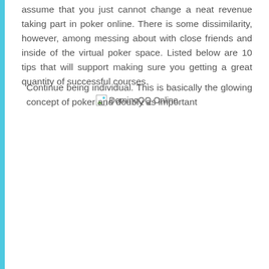assume that you just cannot change a neat revenue taking part in poker online. There is some dissimilarity, however, among messing about with close friends and inside of the virtual poker space. Listed below are 10 tips that will support making sure you getting a great quantity of successful courses.
[Figure (other): Broken image placeholder labeled 'DominoQQ Online']
Continue being individual. This is basically the glowing concept of poker and doubly as important